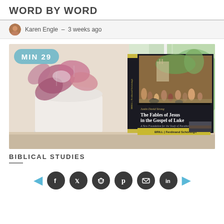WORD BY WORD
Karen Engle – 3 weeks ago
[Figure (photo): Photo of the book 'The Fables of Jesus in the Gospel of Luke' by Justin David Strong (Brill / Ferdinand Schöningh), standing on a windowsill next to a white pot with pink-leafed begonias. A badge reads MIN 29.]
BIBLICAL STUDIES
Social sharing buttons: Facebook, Twitter, Reddit, Pinterest, Email, LinkedIn. Navigation arrows left and right.